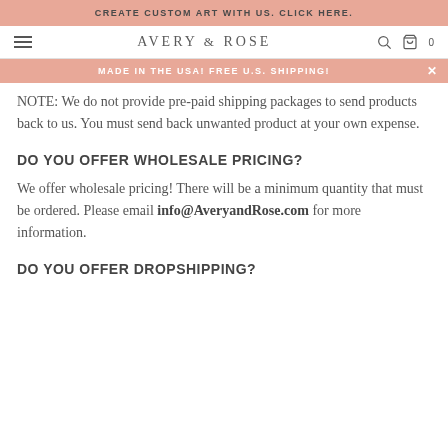CREATE CUSTOM ART WITH US. CLICK HERE.
AVERY & ROSE
MADE IN THE USA! FREE U.S. SHIPPING!
NOTE: We do not provide pre-paid shipping packages to send products back to us. You must send back unwanted product at your own expense.
DO YOU OFFER WHOLESALE PRICING?
We offer wholesale pricing! There will be a minimum quantity that must be ordered. Please email info@AveryandRose.com for more information.
DO YOU OFFER DROPSHIPPING?